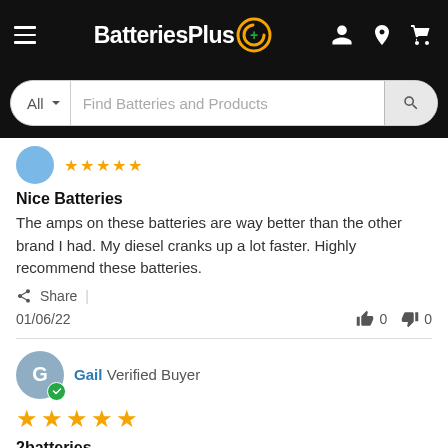BatteriesPlus — navigation header with hamburger menu, logo, and icons
All  |  Find Batteries and Products
[Figure (screenshot): Partial reviewer avatar and star rating (cut off at top of content area)]
Nice Batteries
The amps on these batteries are way better than the other brand I had. My diesel cranks up a lot faster. Highly recommend these batteries.
Share  |
01/06/22   👍 0   👎 0
Gail  Verified Buyer  ★★★★★
2batteries
Everyone was very nice and helpful, putting the heavy batteries in my suv since my husband couldn't due to eye